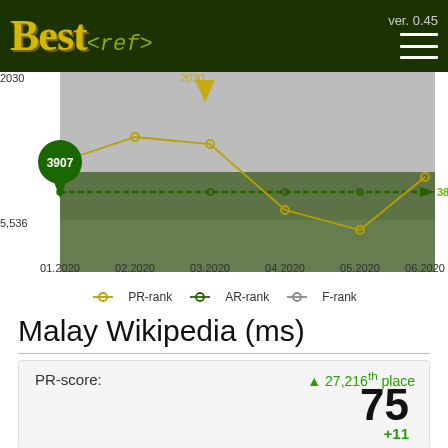Best<ref> ver. 0.45
[Figure (line-chart): Rank over time (01.2020 – 06.2020)]
Malay Wikipedia (ms)
| Metric | Rank | Score | Delta |
| --- | --- | --- | --- |
| PR-score: | 27,216th place ▲ | 75 | +11 |
| AR-score: | 21,518th place ▼ |  |  |